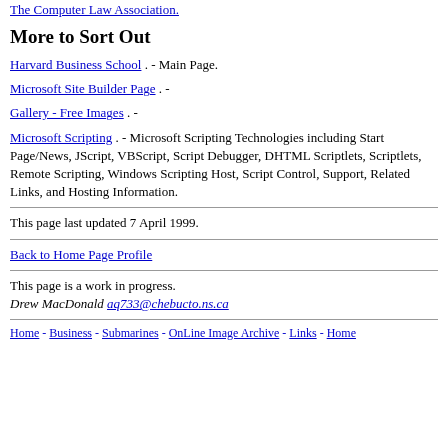The Computer Law Association.
More to Sort Out
Harvard Business School . - Main Page.
Microsoft Site Builder Page . -
Gallery - Free Images . -
Microsoft Scripting . - Microsoft Scripting Technologies including Start Page/News, JScript, VBScript, Script Debugger, DHTML Scriptlets, Scriptlets, Remote Scripting, Windows Scripting Host, Script Control, Support, Related Links, and Hosting Information.
This page last updated 7 April 1999.
Back to Home Page Profile
This page is a work in progress.
Drew MacDonald aq733@chebucto.ns.ca
Home - Business - Submarines - OnLine Image Archive - Links - Home